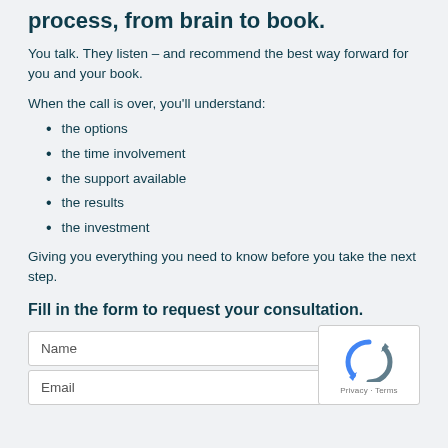process, from brain to book.
You talk. They listen – and recommend the best way forward for you and your book.
When the call is over, you'll understand:
the options
the time involvement
the support available
the results
the investment
Giving you everything you need to know before you take the next step.
Fill in the form to request your consultation.
Name
Email